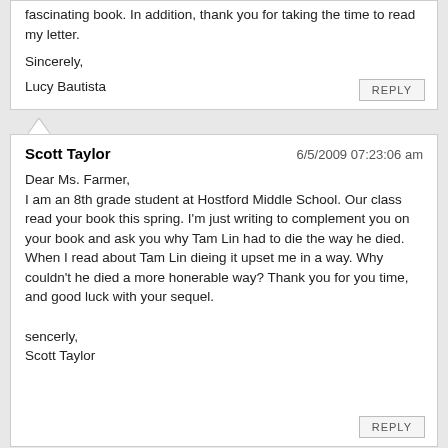fascinating book. In addition, thank you for taking the time to read my letter.
Sincerely,
Lucy Bautista
Scott Taylor   6/5/2009 07:23:06 am
Dear Ms. Farmer,
I am an 8th grade student at Hostford Middle School. Our class read your book this spring. I'm just writing to complement you on your book and ask you why Tam Lin had to die the way he died. When I read about Tam Lin dieing it upset me in a way. Why couldn't he died a more honerable way? Thank you for you time, and good luck with your sequel.
sencerly,
Scott Taylor